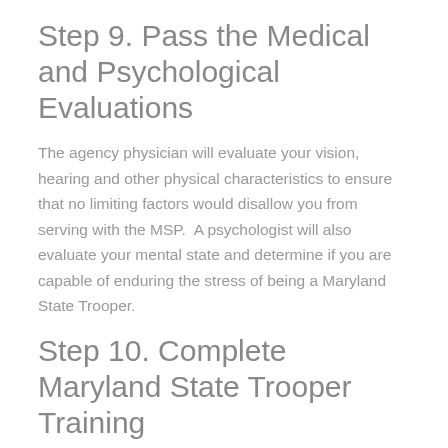Step 9. Pass the Medical and Psychological Evaluations
The agency physician will evaluate your vision, hearing and other physical characteristics to ensure that no limiting factors would disallow you from serving with the MSP.  A psychologist will also evaluate your mental state and determine if you are capable of enduring the stress of being a Maryland State Trooper.
Step 10. Complete Maryland State Trooper Training
The 26 week training program will be offered through the Maryland State Police Academy.  Recruits will learn a variety of new skills including
Emergency vehicle operation